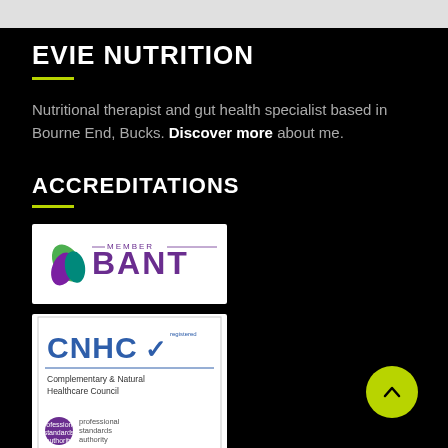EVIE NUTRITION
Nutritional therapist and gut health specialist based in Bourne End, Bucks. Discover more about me.
ACCREDITATIONS
[Figure (logo): BANT Member logo - British Association for Nutrition and Lifestyle Medicine]
[Figure (logo): CNHC logo - Complementary & Natural Healthcare Council, accredited register by professional standards authority]